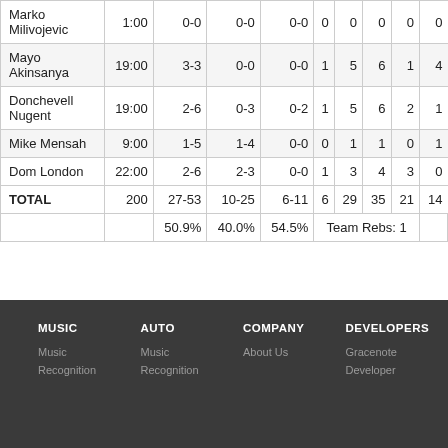| Player | MIN | FG | 3PT | FT | OR | DR | TR | A | ... |
| --- | --- | --- | --- | --- | --- | --- | --- | --- | --- |
| Marko Milivojevic | 1:00 | 0-0 | 0-0 | 0-0 | 0 | 0 | 0 | 0 | 0 |
| Mayo Akinsanya | 19:00 | 3-3 | 0-0 | 0-0 | 1 | 5 | 6 | 1 | 4 |
| Donchevell Nugent | 19:00 | 2-6 | 0-3 | 0-2 | 1 | 5 | 6 | 2 | 1 |
| Mike Mensah | 9:00 | 1-5 | 1-4 | 0-0 | 0 | 1 | 1 | 0 | 1 |
| Dom London | 22:00 | 2-6 | 2-3 | 0-0 | 1 | 3 | 4 | 3 | 0 |
| TOTAL | 200 | 27-53 | 10-25 | 6-11 | 6 | 29 | 35 | 21 | 14 |
|  |  | 50.9% | 40.0% | 54.5% | Team Rebs: 1 |  |  |  |  |
MUSIC  AUTO  COMPANY  DEVELOPERS
Music Recognition  Music Recognition  About Us  Gracenote Developer